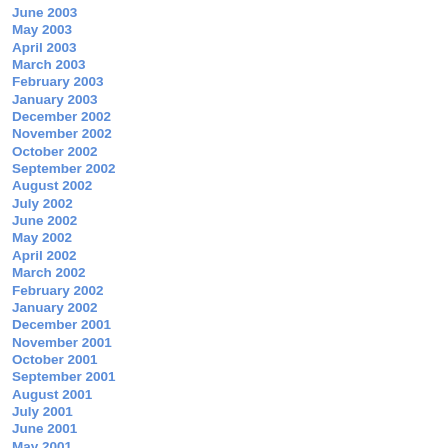June 2003
May 2003
April 2003
March 2003
February 2003
January 2003
December 2002
November 2002
October 2002
September 2002
August 2002
July 2002
June 2002
May 2002
April 2002
March 2002
February 2002
January 2002
December 2001
November 2001
October 2001
September 2001
August 2001
July 2001
June 2001
May 2001
April 2001
March 2001
February 2001
January 2001